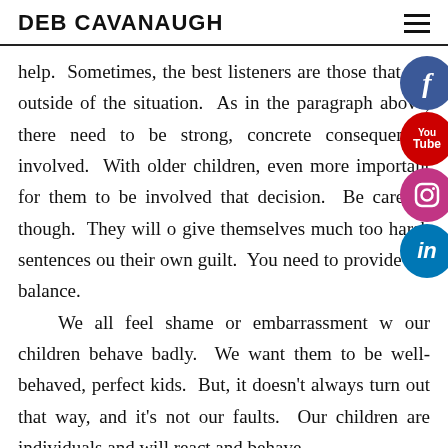DEB CAVANAUGH
help.  Sometimes, the best listeners are those that are outside of the situation.  As in the paragraph above, there need to be strong, concrete consequences involved.  With older children, even more important for them to be involved that decision.  Be careful, though.  They will o give themselves much too harsh sentences ou their own guilt.  You need to provide the balance.
We all feel shame or embarrassment w our children behave badly.  We want them to be well-behaved, perfect kids.  But, it doesn't always turn out that way, and it's not our faults.  Our children are individuals and will react and behave